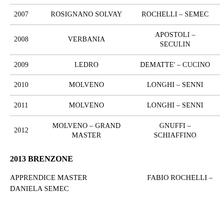| Year | Place | Names |
| --- | --- | --- |
| 2007 | ROSIGNANO SOLVAY | ROCHELLI – SEMEC |
| 2008 | VERBANIA | APOSTOLI – SECULIN |
| 2009 | LEDRO | DEMATTE' – CUCINO |
| 2010 | MOLVENO | LONGHI – SENNI |
| 2011 | MOLVENO | LONGHI – SENNI |
| 2012 | MOLVENO – GRAND MASTER | GNUFFI – SCHIAFFINO |
2013 BRENZONE
APPRENDICE MASTER DANIELA SEMEC
FABIO ROCHELLI –